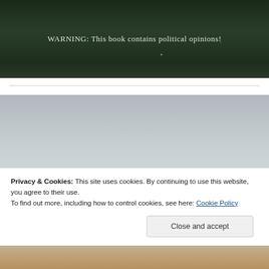[Figure (photo): Dark green forest/night background image with text overlay reading 'WARNING: This book contains political opinions!' in white serif font, with small yellow/green light spots visible.]
WARNING: This book contains political opinions!
[Figure (photo): Gray sky background book cover image showing the word 'ETERNITY' in spaced serif letters with the 'E' in red/coral color, and below partially visible the word 'TOMORROW' with 'T' in red/coral on a sandy/tan background.]
ETERNITY
Privacy & Cookies: This site uses cookies. By continuing to use this website, you agree to their use.
To find out more, including how to control cookies, see here: Cookie Policy
Close and accept